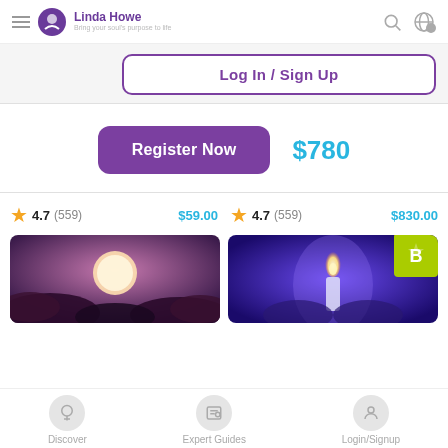[Figure (screenshot): Navigation bar with hamburger menu, Linda Howe logo, search icon, globe/currency icon]
[Figure (screenshot): Log In / Sign Up button with purple border]
[Figure (screenshot): Register Now purple button and $780 price]
★ 4.7 (559) $59.00
★ 4.7 (559) $830.00
[Figure (photo): Moon over purple clouds at night]
[Figure (photo): Candle flame in blue/purple light with yellow-green badge B]
Discover   Expert Guides   Login/Signup